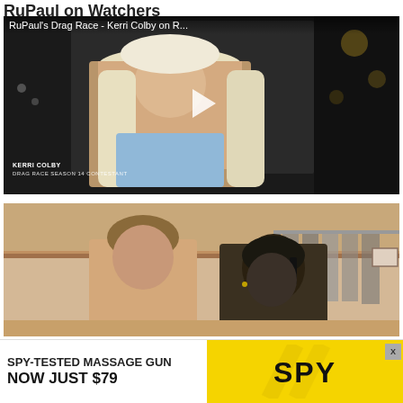RuPaul on Watchers
[Figure (screenshot): Video thumbnail showing RuPaul's Drag Race - Kerri Colby on R... A person with long blonde hair sits in a dark room. A white play button triangle is visible in the center. Lower left text reads KERRI COLBY.]
[Figure (photo): Photo of two men in a clothing store or dressing room. One man has curly hair and a gaunt face; the other wears a black durag. Clothes hang on a rack in the background.]
[Figure (screenshot): Advertisement banner: SPY-TESTED MASSAGE GUN NOW JUST $79 with SPY logo on yellow background. Close button X visible at top right.]